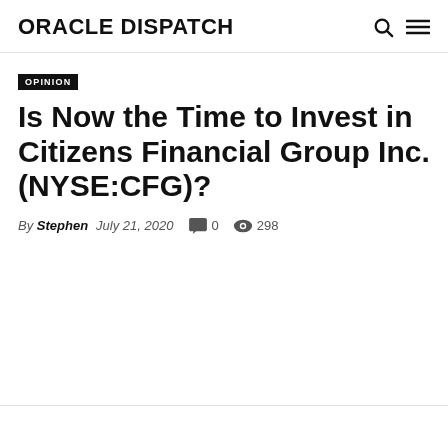ORACLE DISPATCH
OPINION
Is Now the Time to Invest in Citizens Financial Group Inc. (NYSE:CFG)?
By Stephen   July 21, 2020   0   298